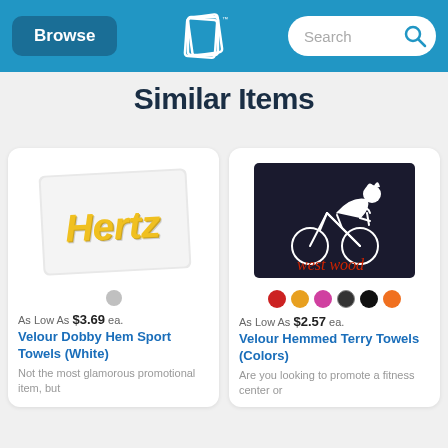Browse | Logo | Search
Similar Items
[Figure (photo): White towel with Hertz logo printed in yellow and black block letters]
As Low As $3.69 ea.
Velour Dobby Hem Sport Towels (White)
Not the most glamorous promotional item, but
[Figure (photo): Black terry towel with white outline of cyclist on bicycle and 'west wood' text in red]
As Low As $2.57 ea.
Velour Hemmed Terry Towels (Colors)
Are you looking to promote a fitness center or